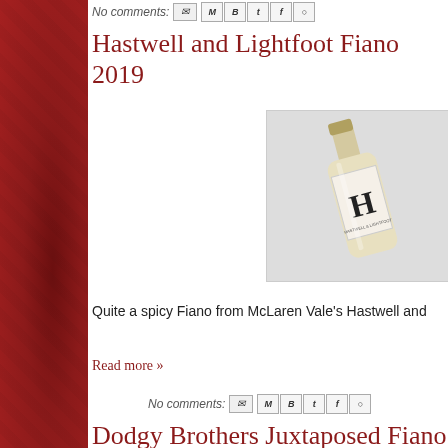No comments:
Hastwell and Lightfoot Fiano 2019
[Figure (photo): Wine bottle photo showing Hastwell and Lightfoot Fiano 2019, white wine bottle with white label featuring a large H logo]
Quite a spicy Fiano from McLaren Vale's Hastwell and
Read more »
No comments:
Dodgy Brothers Juxtaposed Fiano 201